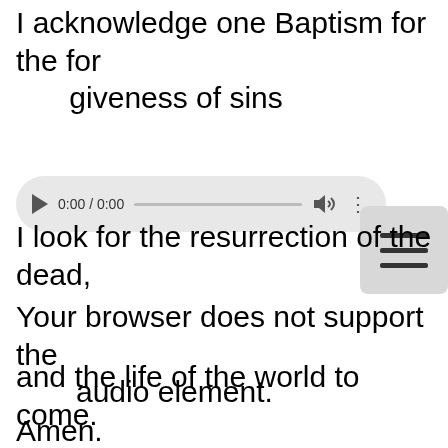I acknowledge one Baptism for the forgiveness of sins
[Figure (screenshot): Audio player UI showing play button, time 0:00 / 0:00, progress bar, volume icon, and menu dots]
I look for the resurrection of the dead,
Your browser does not support the audio element.
and the life of the world to come.
Amen.